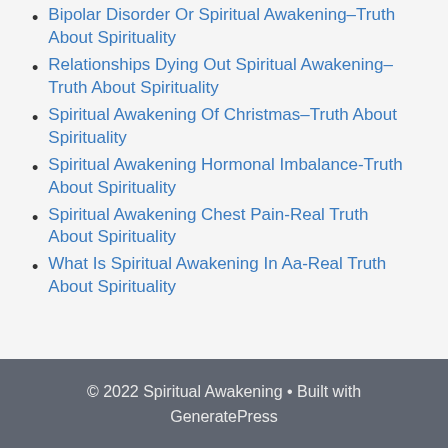Bipolar Disorder Or Spiritual Awakening–Truth About Spirituality
Relationships Dying Out Spiritual Awakening–Truth About Spirituality
Spiritual Awakening Of Christmas–Truth About Spirituality
Spiritual Awakening Hormonal Imbalance-Truth About Spirituality
Spiritual Awakening Chest Pain-Real Truth About Spirituality
What Is Spiritual Awakening In Aa-Real Truth About Spirituality
© 2022 Spiritual Awakening • Built with GeneratePress